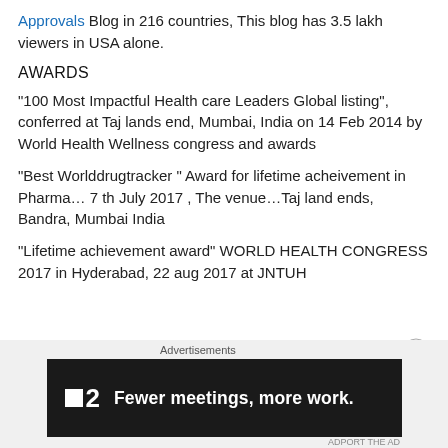Approvals Blog in 216 countries, This blog has 3.5 lakh viewers in USA alone.
AWARDS
“100 Most Impactful Health care Leaders Global listing”, conferred at Taj lands end, Mumbai, India on 14 Feb 2014 by World Health Wellness congress and awards
“Best Worlddrugtracker ” Award for lifetime acheivement in Pharma… 7 th July 2017 , The venue…Taj land ends, Bandra, Mumbai India
“Lifetime achievement award” WORLD HEALTH CONGRESS 2017 in Hyderabad, 22 aug 2017 at JNTUH
Advertisements
[Figure (other): Advertisement banner: F2 logo with text 'Fewer meetings, more work.']